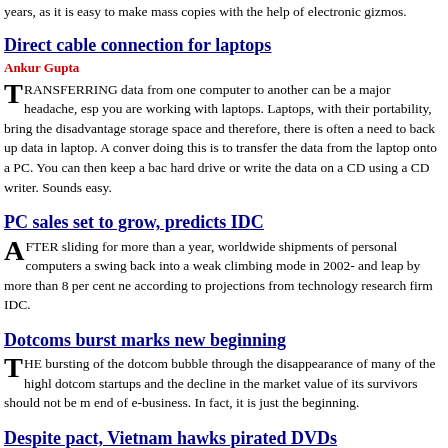years, as it is easy to make mass copies with the help of electronic gizmos.
Direct cable connection for laptops
Ankur Gupta
TRANSFERRING data from one computer to another can be a major headache, especially if you are working with laptops. Laptops, with their portability, bring the disadvantage of limited storage space and therefore, there is often a need to back up data in laptop. A convenient way of doing this is to transfer the data from the laptop onto a PC. You can then keep a backup on the hard drive or write the data on a CD using a CD writer. Sounds easy.
PC sales set to grow, predicts IDC
AFTER sliding for more than a year, worldwide shipments of personal computers are set to swing back into a weak climbing mode in 2002- and leap by more than 8 per cent next year, according to projections from technology research firm IDC.
Dotcoms burst marks new beginning
THE bursting of the dotcom bubble through the disappearance of many of the highly-valued dotcom startups and the decline in the market value of its survivors should not be mistaken for the end of e-business. In fact, it is just the beginning.
Despite pact, Vietnam hawks pirated DVDs
EIGHT days after the latest James Bond thriller, Die Another Day, was released in t